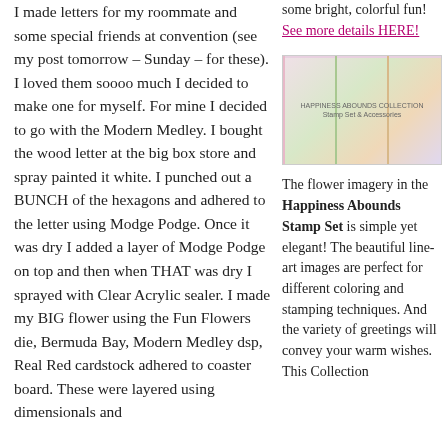I made letters for my roommate and some special friends at convention (see my post tomorrow – Sunday – for these).  I loved them soooo much I decided to make one for myself.  For mine I decided to go with the Modern Medley.  I bought the wood letter at the big box store and spray painted it white.  I punched out a BUNCH of the hexagons and adhered to the letter using Modge Podge.  Once it was dry I added a layer of Modge Podge on top and then when THAT was dry I sprayed with Clear Acrylic sealer.  I made my BIG flower using the Fun Flowers die, Bermuda Bay, Modern Medley dsp, Real Red cardstock adhered to coaster board.  These were layered using dimensionals and
some bright, colorful fun!  See more details HERE!
[Figure (photo): Happiness Abounds Collection stamp set product image]
The flower imagery in the Happiness Abounds Stamp Set is simple yet elegant!  The beautiful line-art images are perfect for different coloring and stamping techniques.  And the variety of greetings will convey your warm wishes.  This Collection